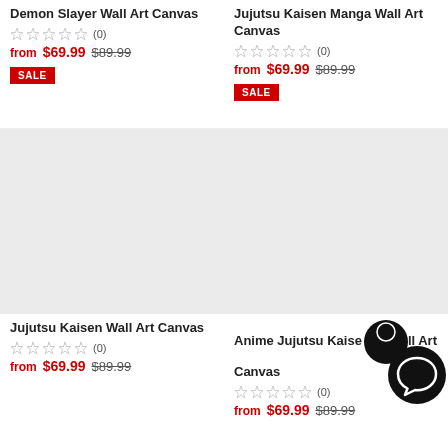Demon Slayer Wall Art Canvas
★★★★★ (0)
from $69.99  $89.99
SALE
Jujutsu Kaisen Manga Wall Art Canvas
★★★★★ (0)
from $69.99  $89.99
SALE
[Figure (photo): Placeholder grey image for Jujutsu Kaisen Wall Art Canvas product]
Jujutsu Kaisen Wall Art Canvas
★★★★★ (0)
from $69.99  $89.99
[Figure (photo): Placeholder grey image for Anime Jujutsu Kaisen Wall Art Canvas product]
Anime Jujutsu Kaisen Wall Art Canvas
★★★★★ (0)
from $69.99  $89.99